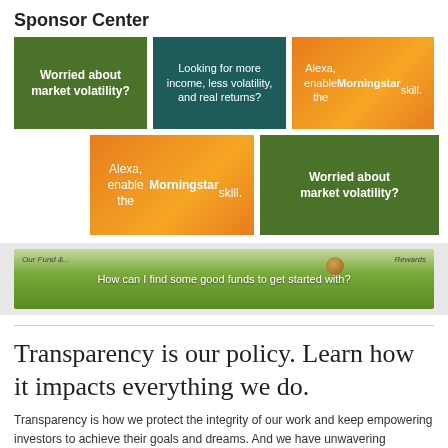Sponsor Center
[Figure (infographic): Ad banner: dark green box with text 'Worried about market volatility?']
[Figure (infographic): Ad banner: teal box with text 'Looking for more income, less volatility, and real returns?']
[Figure (infographic): Ad banner: orange gradient box with text 'Alexa, enable the Morningstar skill.']
[Figure (infographic): Ad banner: orange gradient box with text 'Alexa, enable the Morningstar skill.' (second row)]
[Figure (infographic): Ad banner: dark green box with text 'Worried about market volatility?' (second row)]
[Figure (infographic): Green gradient banner with text 'How can I find some good funds to get started with?']
Transparency is our policy. Learn how it impacts everything we do.
Transparency is how we protect the integrity of our work and keep empowering investors to achieve their goals and dreams. And we have unwavering standards for how we keep that integrity intact, from our